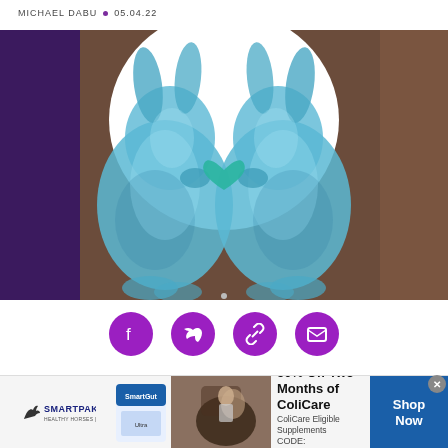MICHAEL DABU • 05.04.22
[Figure (illustration): Two blue watercolor rabbit illustrations facing each other with a teal heart between them, set against a brown background with a white moon/circle behind them. Purple panel on left side.]
[Figure (infographic): Four purple circular social media share icons: Facebook, Twitter, Link/Chain, Email]
[Figure (other): SmartPak advertisement banner: 50% Off Two Months of ColiCare. ColiCare Eligible Supplements. CODE: COLICARE10. Shows SmartPak logo, product image, horse and rider photo, and Shop Now button.]